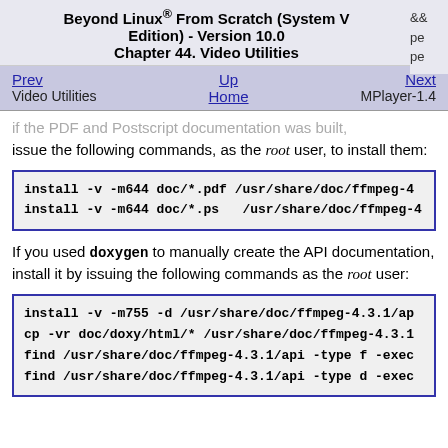Beyond Linux® From Scratch (System V Edition) - Version 10.0
Chapter 44. Video Utilities
if the PDF and Postscript documentation was built, issue the following commands, as the root user, to install them:
install -v -m644 doc/*.pdf /usr/share/doc/ffmpeg-4
install -v -m644 doc/*.ps  /usr/share/doc/ffmpeg-4
If you used doxygen to manually create the API documentation, install it by issuing the following commands as the root user:
install -v -m755 -d /usr/share/doc/ffmpeg-4.3.1/ap
cp -vr doc/doxy/html/* /usr/share/doc/ffmpeg-4.3.1
find /usr/share/doc/ffmpeg-4.3.1/api -type f -exec
find /usr/share/doc/ffmpeg-4.3.1/api -type d -exec